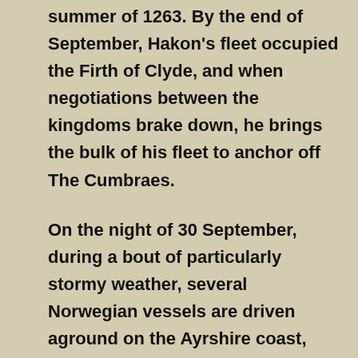summer of 1263. By the end of September, Hakon's fleet occupied the Firth of Clyde, and when negotiations between the kingdoms brake down, he brings the bulk of his fleet to anchor off The Cumbraes.
On the night of 30 September, during a bout of particularly stormy weather, several Norwegian vessels are driven aground on the Ayrshire coast, near the present-day town of Largs. On 2 October, while the Norwegians were salvaging their vessels, the main Scottish army arrive on the scene. Composed of infantry and cavalry, the Scottish force are commanded by Alexander of Dundonald, Steward of Scotland.